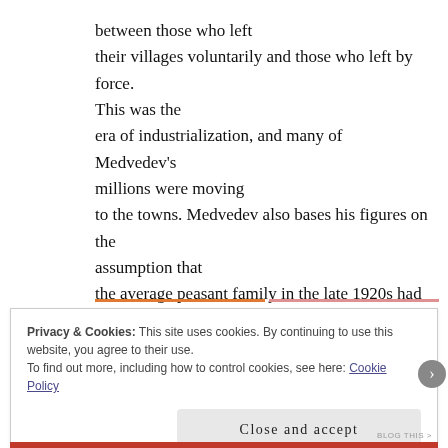between those who left their villages voluntarily and those who left by force. This was the era of industrialization, and many of Medvedev's millions were moving to the towns. Medvedev also bases his figures on the assumption that the average peasant family in the late 1920s had eight members, whereas in fact five was the normal size.
Privacy & Cookies: This site uses cookies. By continuing to use this website, you agree to their use. To find out more, including how to control cookies, see here: Cookie Policy
Close and accept